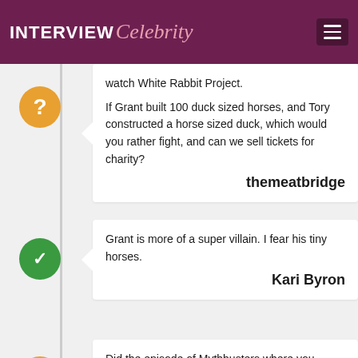INTERVIEW Celebrity
watch White Rabbit Project.

If Grant built 100 duck sized horses, and Tory constructed a horse sized duck, which would you rather fight, and can we sell tickets for charity?

themeatbridge
Grant is more of a super villain. I fear his tiny horses.

Kari Byron
Did the episode of Mythbusters where you increased and decreased your bust size (to see if it affected your tips) make you feel uncomfortable? I always wondered what it was